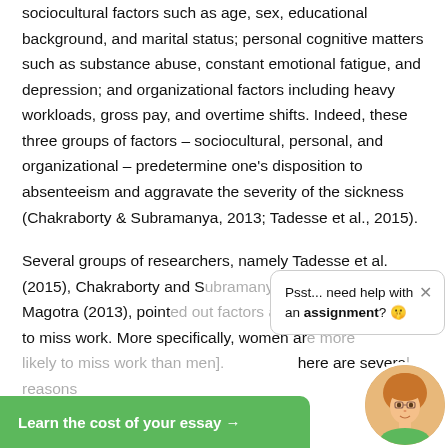sociocultural factors such as age, sex, educational background, and marital status; personal cognitive matters such as substance abuse, constant emotional fatigue, and depression; and organizational factors including heavy workloads, gross pay, and overtime shifts. Indeed, these three groups of factors – sociocultural, personal, and organizational – predetermine one's disposition to absenteeism and aggravate the severity of the sickness (Chakraborty & Subramanya, 2013; Tadesse et al., 2015).
Several groups of researchers, namely Tadesse et al. (2015), Chakraborty and S[ubramanya (2013)], and Magotra (2013), point[ed out factors affecting] the intention to miss work. More specifically, women ar[e more likely to miss work than men]. [Th]ere are severa[l reasons for this. First of al]l, women are
[Figure (other): A popup tooltip overlay with text 'Psst... need help with an assignment? 🤫' with a close (×) button, and a green banner at the bottom reading 'Learn the cost of your essay →' with a circular avatar photo of a young woman.]